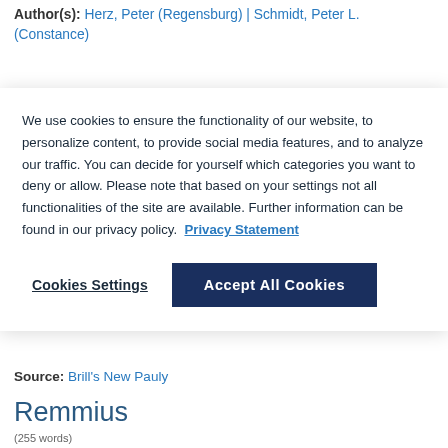Author(s): Herz, Peter (Regensburg) | Schmidt, Peter L. (Constance)
[Figure (screenshot): Cookie consent overlay with text about cookie usage, a 'Privacy Statement' link, 'Cookies Settings' button, and 'Accept All Cookies' button.]
Source: Brill's New Pauly
Remmius
(255 words)
Author(s): Schottky, Martin (Pretzfeld) | Schmidt, Peter (Constance)
[Cognomento [...] Some member of the used for the distinguished...